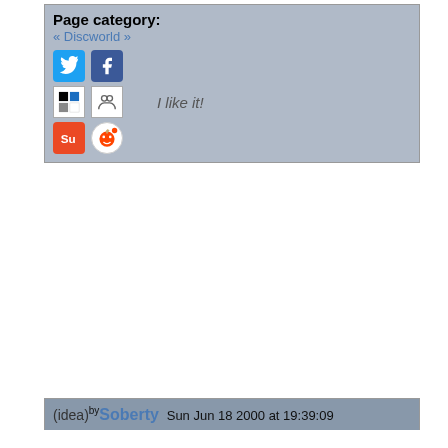Page category: « Discworld »
[Figure (screenshot): Social sharing icons: Twitter, Facebook, Delicious, MySpace, StumbleUpon, Reddit, and 'I like it!' button]
(idea) by Soberty  Sun Jun 18 2000 at 19:39:09
Soul music was the result of the urbanization and commercialization of rhythm and blues in the '60s. Soul came to describe a number of R&B-based music styles. From the bouncy, catchy acts at Motown to the horn-driven, gritty soul of Stax/Volt, there was an immense amount of diversity within soul.